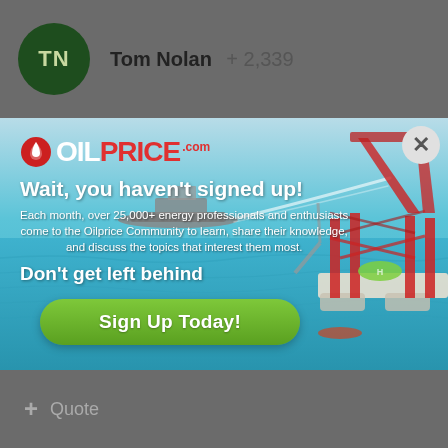Tom Nolan  + 2,339
[Figure (screenshot): OilPrice.com signup advertisement overlay on a blue ocean background with an oil drilling platform and a naval ship. Contains OilPrice logo, headline 'Wait, you haven't signed up!', body text about 25,000+ energy professionals, subheadline 'Don't get left behind', and green 'Sign Up Today!' button. A close (X) button appears in the top right corner.]
+ Quote